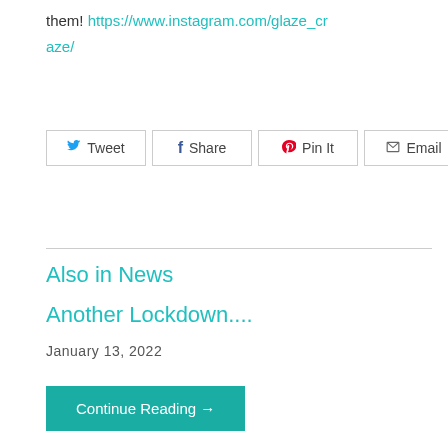them! https://www.instagram.com/glaze_craze/
Tweet | Share | Pin It | Email
Also in News
Another Lockdown....
January 13, 2022
Continue Reading →